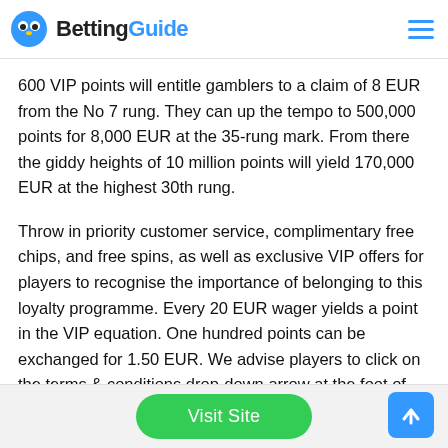BettingGuide
600 VIP points will entitle gamblers to a claim of 8 EUR from the No 7 rung. They can up the tempo to 500,000 points for 8,000 EUR at the 35-rung mark. From there the giddy heights of 10 million points will yield 170,000 EUR at the highest 30th rung.
Throw in priority customer service, complimentary free chips, and free spins, as well as exclusive VIP offers for players to recognise the importance of belonging to this loyalty programme. Every 20 EUR wager yields a point in the VIP equation. One hundred points can be exchanged for 1.50 EUR. We advise players to click on the terms & conditions drop-down arrow at the foot of the page to